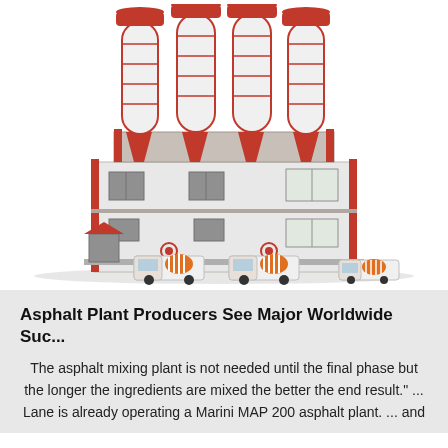[Figure (illustration): 3D illustration of an industrial concrete/asphalt batching plant with four large white and red cylindrical silos on top of a multi-story white and red building. Three orange and white concrete mixer trucks are parked in front of the facility.]
Asphalt Plant Producers See Major Worldwide Suc...
The asphalt mixing plant is not needed until the final phase but the longer the ingredients are mixed the better the end result." ... Lane is already operating a Marini MAP 200 asphalt plant. ... and